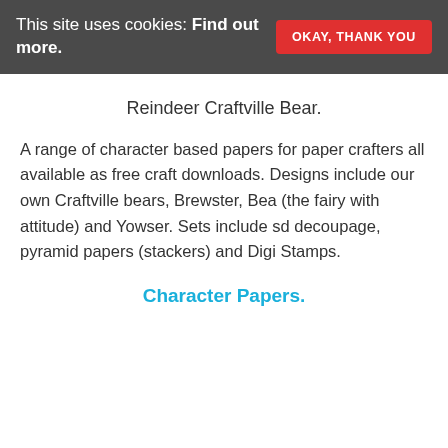This site uses cookies: Find out more. OKAY, THANK YOU
Reindeer Craftville Bear.
A range of character based papers for paper crafters all available as free craft downloads. Designs include our own Craftville bears, Brewster, Bea (the fairy with attitude) and Yowser. Sets include sd decoupage, pyramid papers (stackers) and Digi Stamps.
Character Papers.